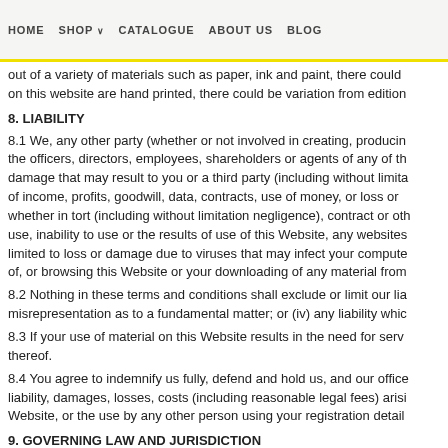HOME | SHOP | CATALOGUE | ABOUT US | BLOG
out of a variety of materials such as paper, ink and paint, there could on this website are hand printed, there could be variation from edition
8. LIABILITY
8.1 We, any other party (whether or not involved in creating, producing the officers, directors, employees, shareholders or agents of any of th damage that may result to you or a third party (including without limita of income, profits, goodwill, data, contracts, use of money, or loss or whether in tort (including without limitation negligence), contract or oth use, inability to use or the results of use of this Website, any websites limited to loss or damage due to viruses that may infect your compute of, or browsing this Website or your downloading of any material from
8.2 Nothing in these terms and conditions shall exclude or limit our lia misrepresentation as to a fundamental matter; or (iv) any liability whic
8.3 If your use of material on this Website results in the need for serv thereof.
8.4 You agree to indemnify us fully, defend and hold us, and our office liability, damages, losses, costs (including reasonable legal fees) arisi Website, or the use by any other person using your registration detail
9. GOVERNING LAW AND JURISDICTION